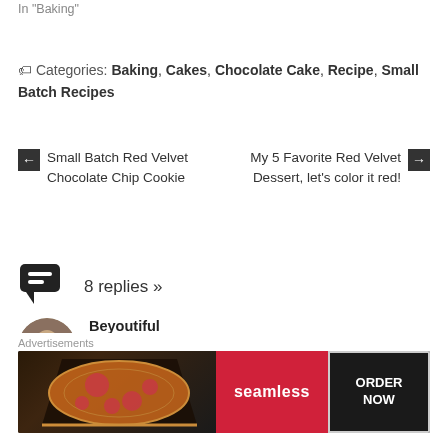In "Baking"
Categories: Baking, Cakes, Chocolate Cake, Recipe, Small Batch Recipes
← Small Batch Red Velvet Chocolate Chip Cookie
My 5 Favorite Red Velvet Dessert, let's color it red! →
8 replies »
Beyoutiful
February 4, 2018 at 4:38 pm
That looks amazing!!
Advertisements
[Figure (screenshot): Seamless food delivery advertisement banner with pizza image, red Seamless logo button, and ORDER NOW button on dark background]